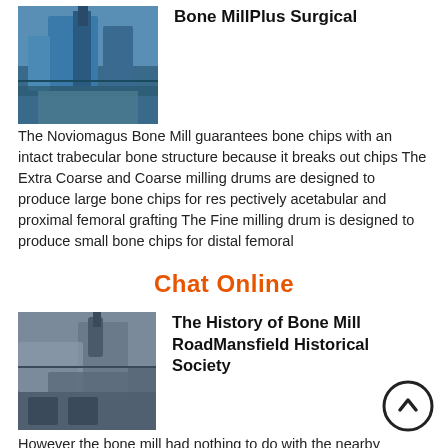[Figure (photo): Industrial bone mill machine, blue machinery with silos]
Bone MillPlus Surgical
The Noviomagus Bone Mill guarantees bone chips with an intact trabecular bone structure because it breaks out chips The Extra Coarse and Coarse milling drums are designed to produce large bone chips for res pectively acetabular and proximal femoral grafting The Fine milling drum is designed to produce small bone chips for distal femoral
Chat Online
[Figure (photo): Industrial bone mill facility interior with machinery arm]
The History of Bone Mill RoadMansfield Historical Society
However the bone mill had nothing to do with the nearby cemetery Bone mills process the bones of slaughtered animals to produce fertilizer Bone meal is an excellent source of phosphorus and other nutrients It is